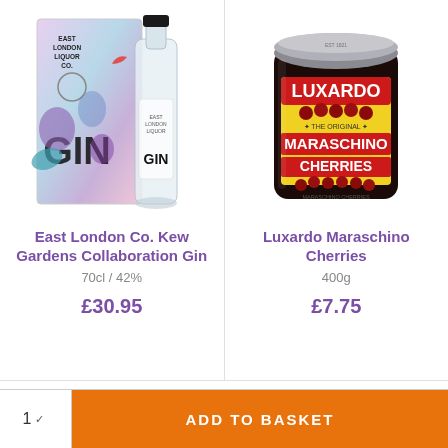[Figure (photo): East London Liquor Co. Kew Gardens Collaboration Gin bottle with floral box packaging]
East London Co. Kew Gardens Collaboration Gin
70cl / 42%
£30.95
[Figure (photo): Luxardo Maraschino Cherries jar with yellow and red label]
Luxardo Maraschino Cherries
400g
£7.75
1 ∨  ADD TO BASKET